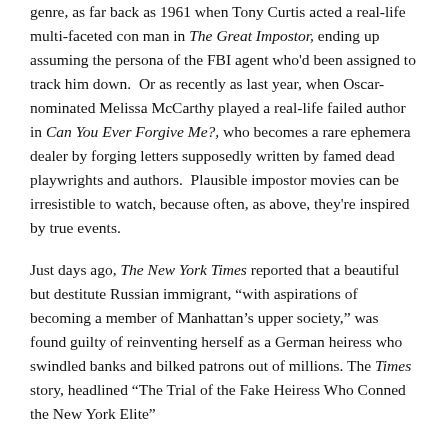genre, as far back as 1961 when Tony Curtis acted a real-life multi-faceted con man in The Great Impostor, ending up assuming the persona of the FBI agent who'd been assigned to track him down. Or as recently as last year, when Oscar-nominated Melissa McCarthy played a real-life failed author in Can You Ever Forgive Me?, who becomes a rare ephemera dealer by forging letters supposedly written by famed dead playwrights and authors. Plausible impostor movies can be irresistible to watch, because often, as above, they're inspired by true events.
Just days ago, The New York Times reported that a beautiful but destitute Russian immigrant, "with aspirations of becoming a member of Manhattan's upper society," was found guilty of reinventing herself as a German heiress who swindled banks and bilked patrons out of millions. The Times story, headlined "The Trial of the Fake Heiress Who Conned the New York Elite" stated that...